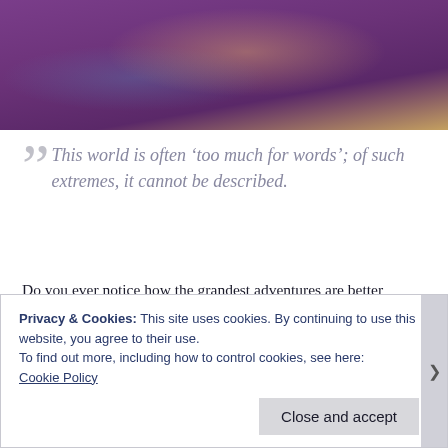[Figure (photo): A person wearing a purple sweater and blue accents, holding something yellow, photographed from approximately chest/shoulder up. Background is neutral/warm tone.]
This world is often ‘too much for words’; of such extremes, it cannot be described.
Do you ever notice how the grandest adventures are better captured and best remembered through the quotes you stumble upon, the movie scenes you relate to, the lyrics you overhear in some back alley cafe?
Privacy & Cookies: This site uses cookies. By continuing to use this website, you agree to their use.
To find out more, including how to control cookies, see here:
Cookie Policy
Close and accept